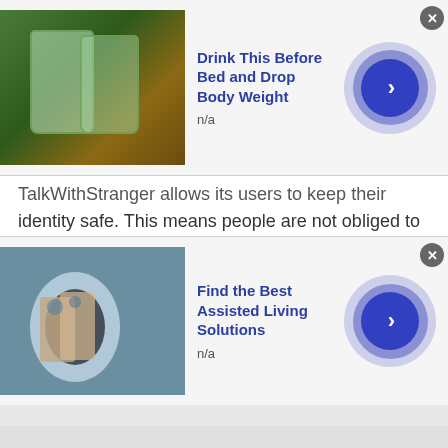[Figure (photo): Advertisement banner: image of cucumber water glasses on the left, bold blue title 'Drink This Before Bed and Drop Body Weight', n/a subtitle, blue circular arrow button, and X close button]
TalkWithStranger allows its users to keep their identity safe. This means people are not obliged to use their real names to chat with people. You can also use a stage name, or your nickname to start a chat session with the people. Moreover, a person always has an option to choose between audio call, a video call, or just simply rely on text chats.
Real time conversation:
The Talk with stranger platform enables the people
[Figure (photo): Advertisement banner: image of elderly person on the left, bold blue title 'Find the Best Assisted Living Solutions', n/a subtitle, blue circular arrow button, and X close button]